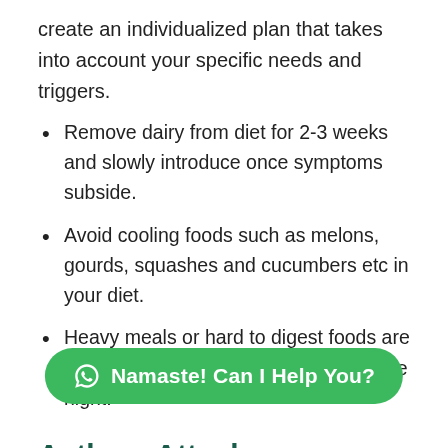create an individualized plan that takes into account your specific needs and triggers.
Remove dairy from diet for 2-3 weeks and slowly introduce once symptoms subside.
Avoid cooling foods such as melons, gourds, squashes and cucumbers etc in your diet.
Heavy meals or hard to digest foods are prohibited all the time, specifically in the night.
Asthma Attack
An asthma attack is when you have a lot of trouble breathing. You lungs with air, and you might start coughing a lot.
[Figure (other): WhatsApp chat button with text: Namaste! Can I Help You?]